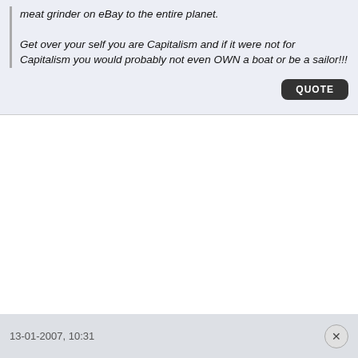meat grinder on eBay to the entire planet.
Get over your self you are Capitalism and if it were not for Capitalism you would probably not even OWN a boat or be a sailor!!!
13-01-2007, 10:31